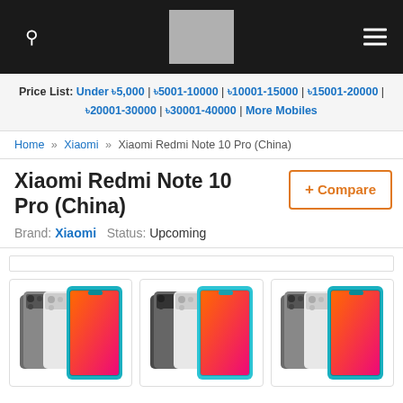Navigation header with search icon, logo placeholder, and hamburger menu
Price List: Under ৳5,000 | ৳5001-10000 | ৳10001-15000 | ৳15001-20000 | ৳20001-30000 | ৳30001-40000 | More Mobiles
Home » Xiaomi » Xiaomi Redmi Note 10 Pro (China)
Xiaomi Redmi Note 10 Pro (China)
Brand: Xiaomi  Status: Upcoming
[Figure (screenshot): Three gallery images of Xiaomi Redmi Note 10 Pro (China) showing front and back views in multiple colors (gray, white, teal/blue, red-orange)]